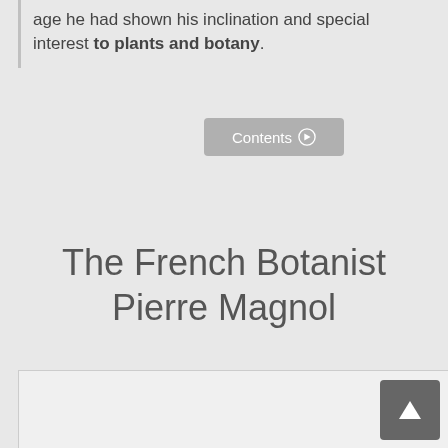age he had shown his inclination and special interest to plants and botany.
[Figure (other): A 'Contents' button with a circled arrow icon, gray background]
The French Botanist Pierre Magnol
[Figure (other): A light gray image/content box with a dark gray scroll-up arrow button in the bottom right corner]